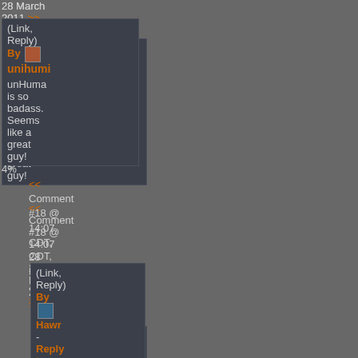28 March 2011 >>
(Link, Reply)
By unihumi
unHuma is so badass. Seems like a great guy!
4%
<< Comment #18 @ 14:07 CDT, 28 March 2011 >>
(Link, Reply)
By Hawr
-
Reply to